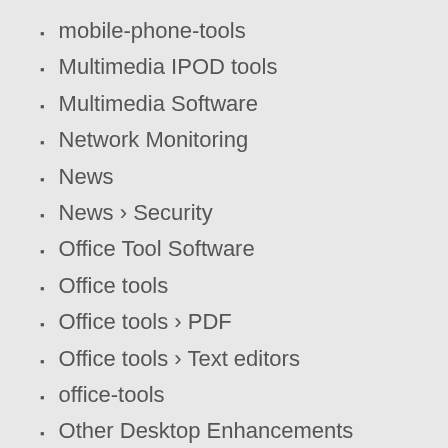mobile-phone-tools
Multimedia IPOD tools
Multimedia Software
Network Monitoring
News
News › Security
Office Tool Software
Office tools
Office tools › PDF
Office tools › Text editors
office-tools
Other Desktop Enhancements
Other Internet Related
Other VIDEO Tools
Others › Finances & Business
PC game
PC...